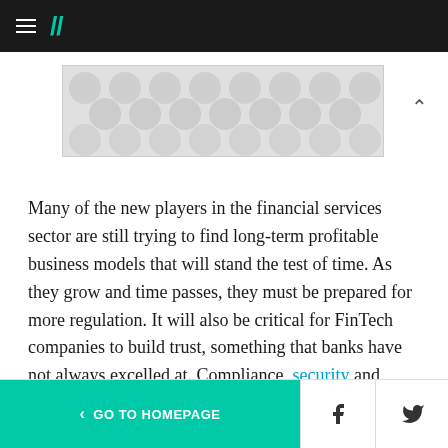HuffPost navigation
[Figure (other): Advertisement/image placeholder with grey dot/circle pattern background]
Many of the new players in the financial services sector are still trying to find long-term profitable business models that will stand the test of time. As they grow and time passes, they must be prepared for more regulation. It will also be critical for FinTech companies to build trust, something that banks have not always excelled at. Compliance, security and privacy will become more prominent as regulators struggle to
< GO TO HOMEPAGE